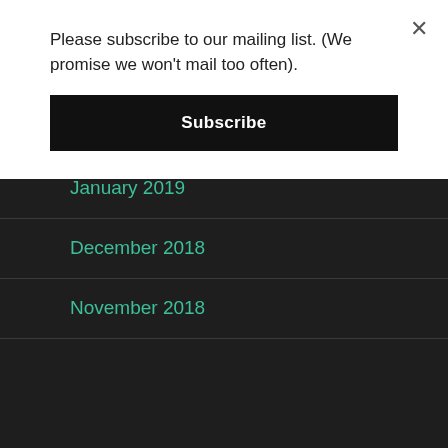Please subscribe to our mailing list. (We promise we won't mail too often).
Subscribe
March 2019
February 2019
January 2019
December 2018
November 2018